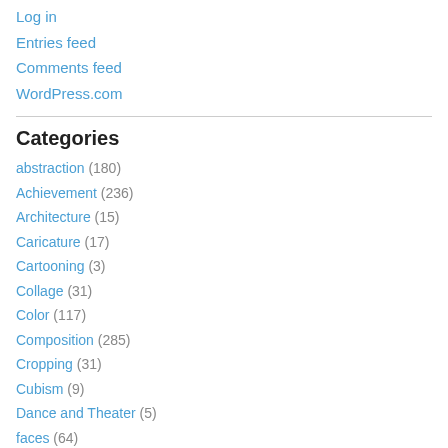Log in
Entries feed
Comments feed
WordPress.com
Categories
abstraction (180)
Achievement (236)
Architecture (15)
Caricature (17)
Cartooning (3)
Collage (31)
Color (117)
Composition (285)
Cropping (31)
Cubism (9)
Dance and Theater (5)
faces (64)